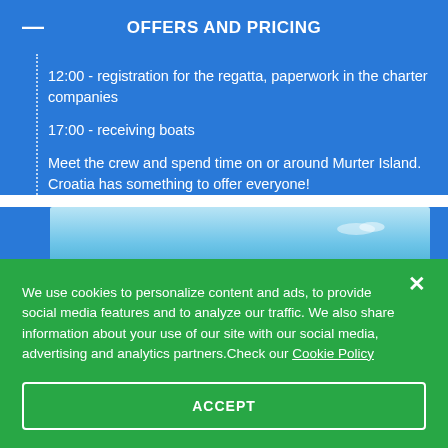OFFERS AND PRICING
12:00 - registration for the regatta, paperwork in the charter companies
17:00 - receiving boats
Meet the crew and spend time on or around Murter Island. Croatia has something to offer everyone!
[Figure (photo): Photograph of blue sky with light clouds over water, partially visible]
We use cookies to personalize content and ads, to provide social media features and to analyze our traffic. We also share information about your use of our site with our social media, advertising and analytics partners.Check our Cookie Policy
ACCEPT